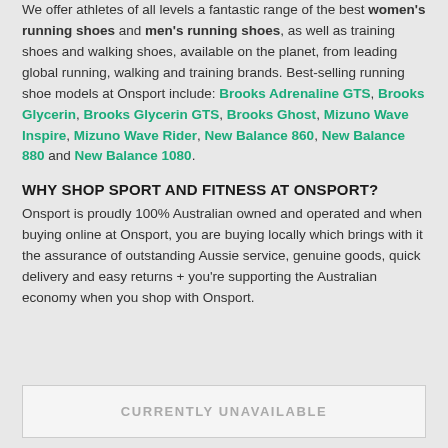We offer athletes of all levels a fantastic range of the best women's running shoes and men's running shoes, as well as training shoes and walking shoes, available on the planet, from leading global running, walking and training brands. Best-selling running shoe models at Onsport include: Brooks Adrenaline GTS, Brooks Glycerin, Brooks Glycerin GTS, Brooks Ghost, Mizuno Wave Inspire, Mizuno Wave Rider, New Balance 860, New Balance 880 and New Balance 1080.
WHY SHOP SPORT AND FITNESS AT ONSPORT?
Onsport is proudly 100% Australian owned and operated and when buying online at Onsport, you are buying locally which brings with it the assurance of outstanding Aussie service, genuine goods, quick delivery and easy returns + you're supporting the Australian economy when you shop with Onsport.
CURRENTLY UNAVAILABLE